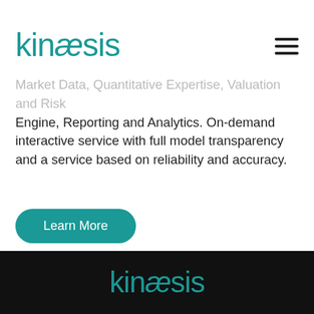kinaesis
Market Data, Quantitative Expertise, Valuation and Risk Engine, Reporting and Analytics. On-demand interactive service with full model transparency and a service based on reliability and accuracy.
Learn More
kinaesis